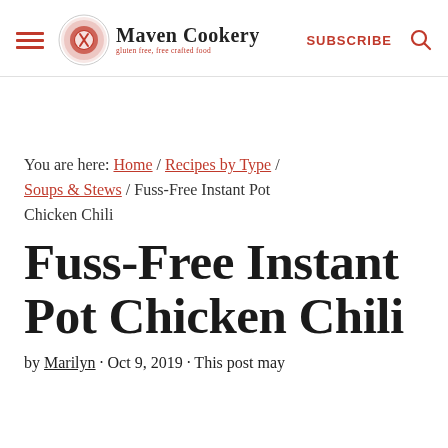Maven Cookery | SUBSCRIBE
You are here: Home / Recipes by Type / Soups & Stews / Fuss-Free Instant Pot Chicken Chili
Fuss-Free Instant Pot Chicken Chili
by Marilyn · Oct 9, 2019 · This post may contain affiliate links.